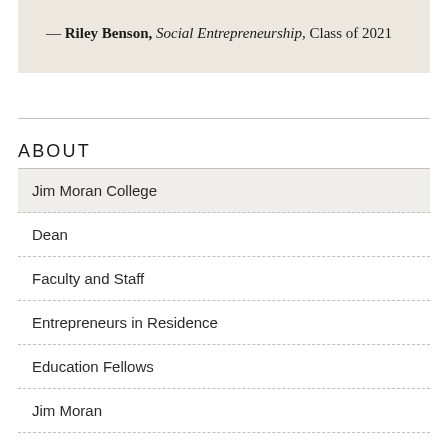— Riley Benson, Social Entrepreneurship, Class of 2021
ABOUT
Jim Moran College
Dean
Faculty and Staff
Entrepreneurs in Residence
Education Fellows
Jim Moran
Ro...